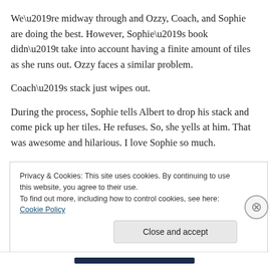We’re midway through and Ozzy, Coach, and Sophie are doing the best. However, Sophie’s book didn’t take into account having a finite amount of tiles as she runs out. Ozzy faces a similar problem.
Coach’s stack just wipes out.
During the process, Sophie tells Albert to drop his stack and come pick up her tiles. He refuses. So, she yells at him. That was awesome and hilarious. I love Sophie so much.
Privacy & Cookies: This site uses cookies. By continuing to use this website, you agree to their use.
To find out more, including how to control cookies, see here: Cookie Policy